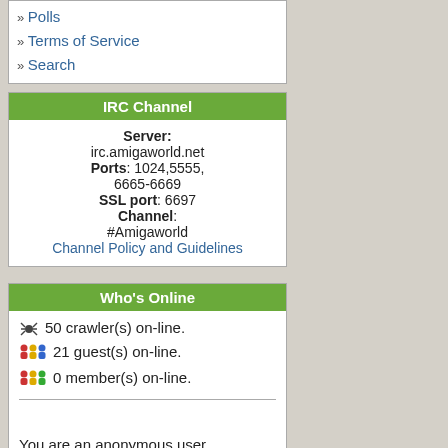» Polls
» Terms of Service
» Search
IRC Channel
Server: irc.amigaworld.net Ports: 1024,5555, 6665-6669 SSL port: 6697 Channel: #Amigaworld Channel Policy and Guidelines
Who's Online
50 crawler(s) on-line.
21 guest(s) on-line.
0 member(s) on-line.
You are an anonymous user. Register Now!
utri007:  11 mins